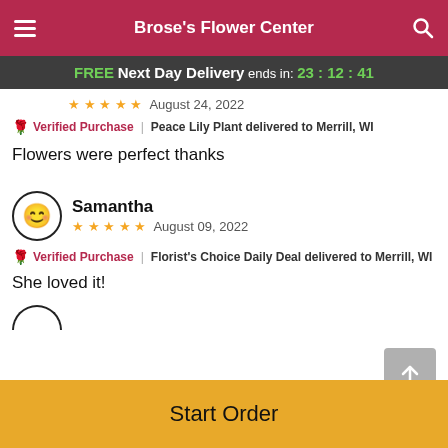Brose's Flower Center
FREE Next Day Delivery ends in: 23:12:41
★ ★ ★ ★ ★   August 24, 2022
Verified Purchase | Peace Lily Plant delivered to Merrill, WI
Flowers were perfect thanks
Samantha   August 09, 2022  ★ ★ ★ ★ ★
Verified Purchase | Florist's Choice Daily Deal delivered to Merrill, WI
She loved it!
Start Order